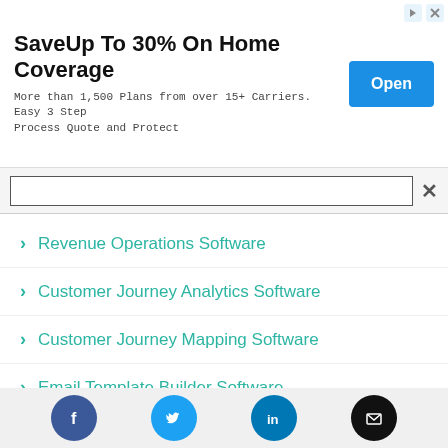[Figure (screenshot): Advertisement banner: 'SaveUp To 30% On Home Coverage' with subtitle 'More than 1,500 Plans from over 15+ Carriers. Easy 3 Step Process Quote and Protect' and a blue 'Open' button]
Revenue Operations Software
Customer Journey Analytics Software
Customer Journey Mapping Software
Email Template Builder Software
Online Reputation Management Software
Online Community Management Software
[Figure (infographic): Social media icons row: Facebook (blue circle), Twitter (blue circle), LinkedIn (blue circle), Email (black circle)]